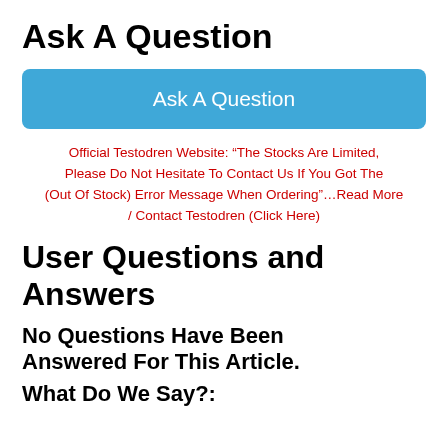Ask A Question
Ask A Question
Official Testodren Website: “The Stocks Are Limited, Please Do Not Hesitate To Contact Us If You Got The (Out Of Stock) Error Message When Ordering”…Read More / Contact Testodren (Click Here)
User Questions and Answers
No Questions Have Been Answered For This Article.
What Do We Say?: